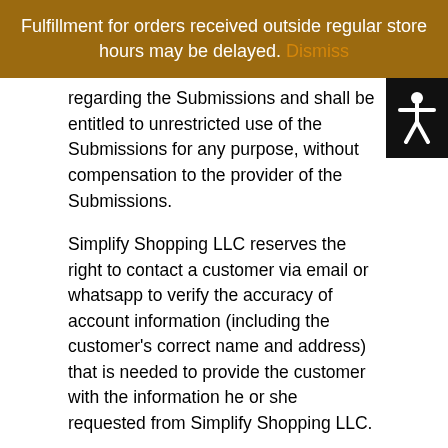Fulfillment for orders received outside regular store hours may be delayed. Dismiss
regarding the Submissions and shall be entitled to unrestricted use of the Submissions for any purpose, without compensation to the provider of the Submissions.
Simplify Shopping LLC reserves the right to contact a customer via email or whatsapp to verify the accuracy of account information (including the customer's correct name and address) that is needed to provide the customer with the information he or she requested from Simplify Shopping LLC.
WARRANTY INFORMATION
THE INFORMATION FROM OR THROUGH THE SITE ARE